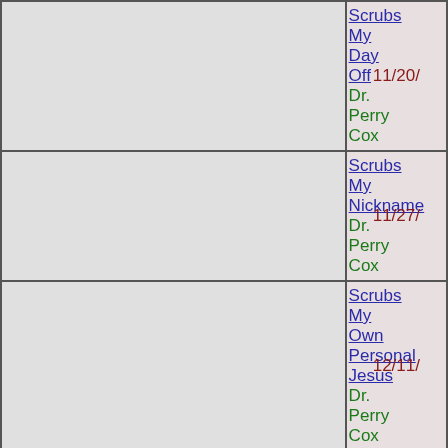| (content) | Episode | Date |
| --- | --- | --- |
|  | Scrubs My Day Off
Dr. Perry Cox | 11/20/ |
|  | Scrubs My Nickname
Dr. Perry Cox | 11/27/ |
|  | Scrubs My Own Personal Jesus
Dr. Perry Cox | 12/11/ |
|  | Scrubs My Blind Date
Dr. Perry Cox | 01/08/ |
|  | Scrubs My Balancing Act
Dr. Perry Cox | 01/15/ |